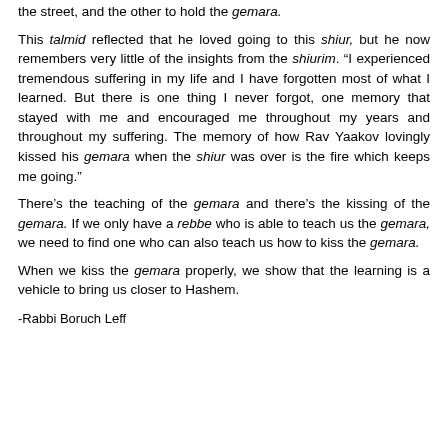the street, and the other to hold the gemara.
This talmid reflected that he loved going to this shiur, but he now remembers very little of the insights from the shiurim. “I experienced tremendous suffering in my life and I have forgotten most of what I learned. But there is one thing I never forgot, one memory that stayed with me and encouraged me throughout my years and throughout my suffering. The memory of how Rav Yaakov lovingly kissed his gemara when the shiur was over is the fire which keeps me going.”
There’s the teaching of the gemara and there’s the kissing of the gemara. If we only have a rebbe who is able to teach us the gemara, we need to find one who can also teach us how to kiss the gemara.
When we kiss the gemara properly, we show that the learning is a vehicle to bring us closer to Hashem.
-Rabbi Boruch Leff